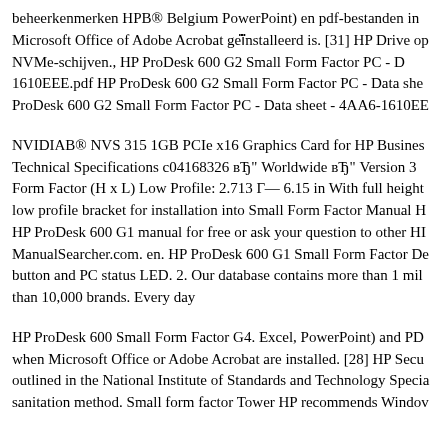beheerkenmerken HPB® Belgium PowerPoint) en pdf-bestanden in Microsoft Office of Adobe Acrobat geïnstalleerd is. [31] HP Drive op NVMe-schijven., HP ProDesk 600 G2 Small Form Factor PC - D 1610EEE.pdf HP ProDesk 600 G2 Small Form Factor PC - Data she ProDesk 600 G2 Small Form Factor PC - Data sheet - 4AA6-1610EE
NVIDIAB® NVS 315 1GB PCIe x16 Graphics Card for HP Busines Technical Specifications c04168326 вЂ" Worldwide вЂ" Version 3 Form Factor (H x L) Low Profile: 2.713 Г— 6.15 in With full height low profile bracket for installation into Small Form Factor Manual H HP ProDesk 600 G1 manual for free or ask your question to other HI ManualSearcher.com. en. HP ProDesk 600 G1 Small Form Factor De button and PC status LED. 2. Our database contains more than 1 mil than 10,000 brands. Every day
HP ProDesk 600 Small Form Factor G4. Excel, PowerPoint) and PD when Microsoft Office or Adobe Acrobat are installed. [28] HP Secu outlined in the National Institute of Standards and Technology Specia sanitation method. Small form factor Tower HP recommends Windov